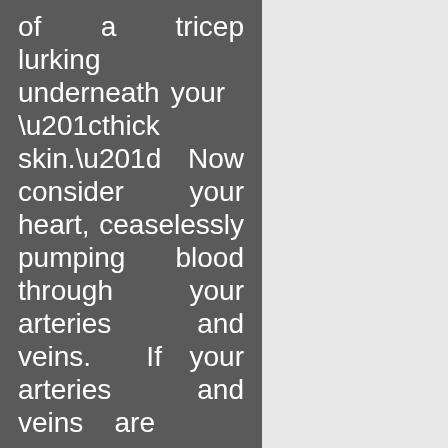of a tricep lurking underneath your “thick skin.” Now consider your heart, ceaselessly pumping blood through your arteries and veins. If your arteries and veins are